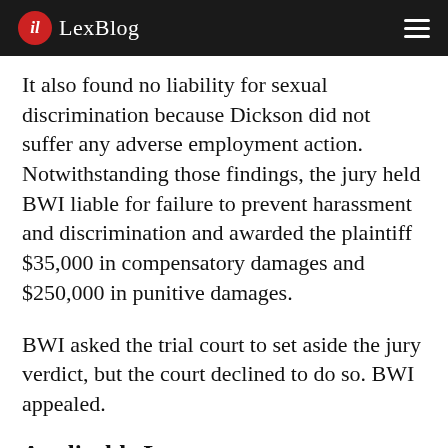LexBlog
It also found no liability for sexual discrimination because Dickson did not suffer any adverse employment action. Notwithstanding those findings, the jury held BWI liable for failure to prevent harassment and discrimination and awarded the plaintiff $35,000 in compensatory damages and $250,000 in punitive damages.
BWI asked the trial court to set aside the jury verdict, but the court declined to do so. BWI appealed.
Applicable Law